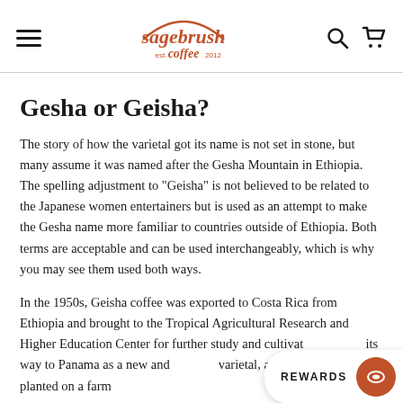sagebrush coffee est. 2012
Gesha or Geisha?
The story of how the varietal got its name is not set in stone, but many assume it was named after the Gesha Mountain in Ethiopia. The spelling adjustment to "Geisha" is not believed to be related to the Japanese women entertainers but is used as an attempt to make the Gesha name more familiar to countries outside of Ethiopia. Both terms are acceptable and can be used interchangeably, which is why you may see them used both ways.
In the 1950s, Geisha coffee was exported to Costa Rica from Ethiopia and brought to the Tropical Agricultural Research and Higher Education Center for further study and cultivation, its way to Panama as a new and varietal, and the seeds were planted on a farm